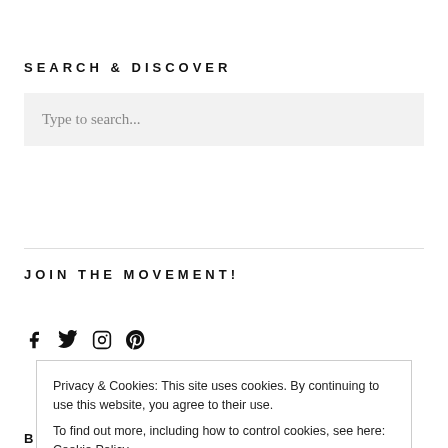SEARCH & DISCOVER
Type to search...
JOIN THE MOVEMENT!
[Figure (other): Social media icons: Facebook, Twitter, Instagram, Pinterest]
Privacy & Cookies: This site uses cookies. By continuing to use this website, you agree to their use.
To find out more, including how to control cookies, see here: Cookie Policy
Close and accept